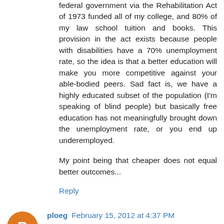federal government via the Rehabilitation Act of 1973 funded all of my college, and 80% of my law school tuition and books. This provision in the act exists because people with disabilities have a 70% unemployment rate, so the idea is that a better education will make you more competitive against your able-bodied peers. Sad fact is, we have a highly educated subset of the population (I'm speaking of blind people) but basically free education has not meaningfully brought down the unemployment rate, or you end up underemployed.
My point being that cheaper does not equal better outcomes...
Reply
ploeg  February 15, 2012 at 4:37 PM
Probably the strongest reason for not hiring an attorney for a non-attorney position is that graduates have it drilled into their heads that the way to get a real job is to get a starter job (as an intern, part-timer, or entry-level person) and do